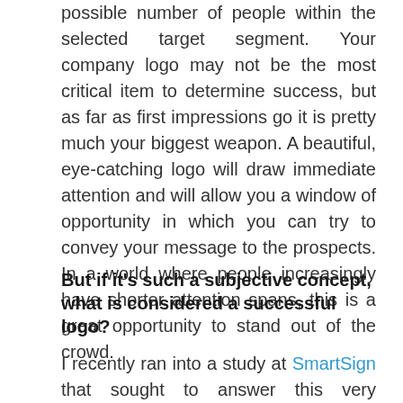possible number of people within the selected target segment. Your company logo may not be the most critical item to determine success, but as far as first impressions go it is pretty much your biggest weapon. A beautiful, eye-catching logo will draw immediate attention and will allow you a window of opportunity in which you can try to convey your message to the prospects. In a world where people increasingly have shorter attention spans, this is a great opportunity to stand out of the crowd.
But if it's such a subjective concept, what is considered a successful logo?
I recently ran into a study at SmartSign that sought to answer this very question by analyzing...